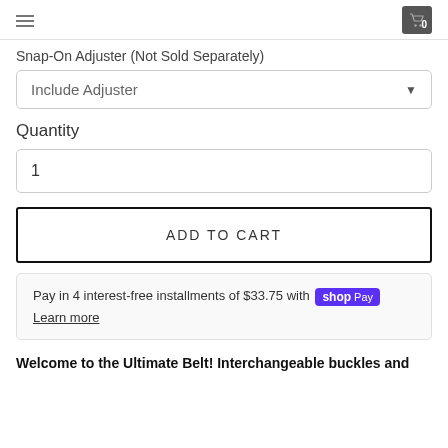≡  [cart icon] 0
Snap-On Adjuster (Not Sold Separately)
Include Adjuster
Quantity
1
ADD TO CART
Pay in 4 interest-free installments of $33.75 with shop Pay
Learn more
Welcome to the Ultimate Belt! Interchangeable buckles and